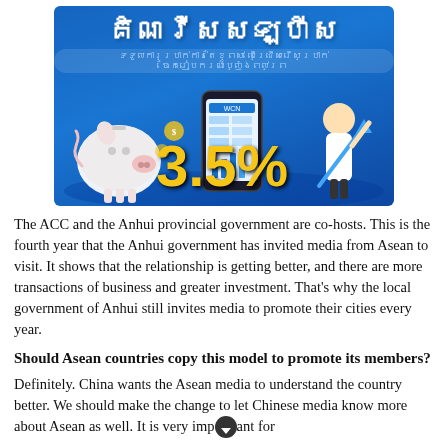[Figure (illustration): Blue advertisement banner with Khmer script title, showing a piggy bank, mobile phone app, a woman figure, gold '3.5%' text, and a WCN logo]
The ACC and the Anhui provincial government are co-hosts. This is the fourth year that the Anhui government has invited media from Asean to visit. It shows that the relationship is getting better, and there are more transactions of business and greater investment. That’s why the local government of Anhui still invites media to promote their cities every year.
Should Asean countries copy this model to promote its members?
Definitely. China wants the Asean media to understand the country better. We should make the change to let Chinese media know more about Asean as well. It is very important for